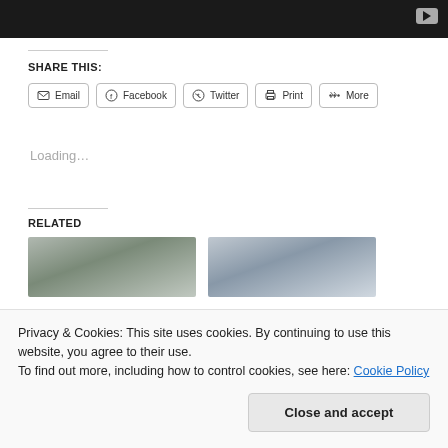[Figure (screenshot): Dark video player bar with YouTube play button icon in top right corner]
SHARE THIS:
Email  Facebook  Twitter  Print  More
Loading...
RELATED
[Figure (photo): Two related article thumbnail images side by side]
Privacy & Cookies: This site uses cookies. By continuing to use this website, you agree to their use.
To find out more, including how to control cookies, see here: Cookie Policy
Close and accept